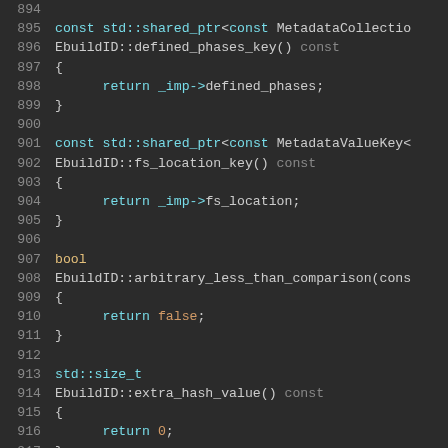[Figure (screenshot): Source code screenshot showing C++ method definitions for EbuildID class, lines 894-921, on a dark background editor. Methods include defined_phases_key(), fs_location_key(), arbitrary_less_than_comparison(), extra_hash_value(), and set_eapi().]